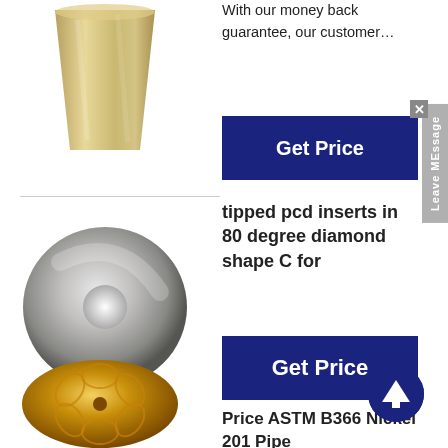[Figure (photo): Metal cup or crucible, silver/gold colored, truncated cone shape]
With our money back guarantee, our customer…
[Figure (other): Get Price button (partial, clipped on right)]
[Figure (photo): Round circular disc/washer with central hole, metallic silver finish]
tipped pcd inserts in 80 degree diamond shape C for
tipped pcd inserts in 80 degree diamond shape C for hard turning non-…
[Figure (other): Get Price button, dark blue]
[Figure (photo): Gold-colored decorative round object with pattern, partially visible]
Price ASTM B366 Nickel 201 Pipe